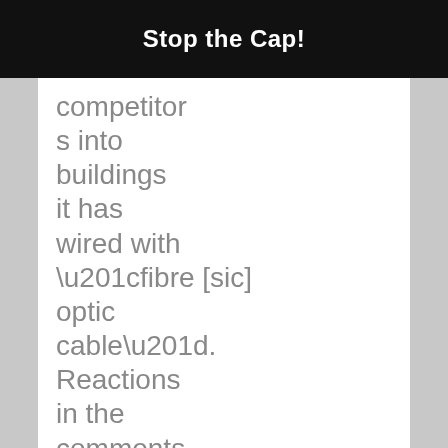Stop the Cap!
competitors into buildings it has wired with “fibre [sic] optic cable”. Reactions in the comments to the quality of Shaw’s service are mixed